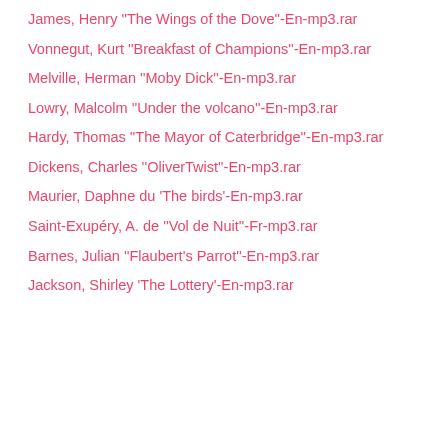James, Henry "The Wings of the Dove"-En-mp3.rar
Vonnegut, Kurt "Breakfast of Champions"-En-mp3.rar
Melville, Herman "Moby Dick"-En-mp3.rar
Lowry, Malcolm "Under the volcano"-En-mp3.rar
Hardy, Thomas "The Mayor of Caterbridge"-En-mp3.rar
Dickens, Charles "OliverTwist"-En-mp3.rar
Maurier, Daphne du 'The birds'-En-mp3.rar
Saint-Exupéry, A. de "Vol de Nuit"-Fr-mp3.rar
Barnes, Julian "Flaubert's Parrot"-En-mp3.rar
Jackson, Shirley 'The Lottery'-En-mp3.rar